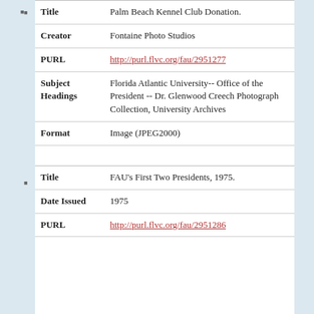| Field | Value |
| --- | --- |
| Title | Palm Beach Kennel Club Donation. |
| Creator | Fontaine Photo Studios |
| PURL | http://purl.flvc.org/fau/2951277 |
| Subject Headings | Florida Atlantic University-- Office of the President -- Dr. Glenwood Creech Photograph Collection, University Archives |
| Format | Image (JPEG2000) |
| Field | Value |
| --- | --- |
| Title | FAU's First Two Presidents, 1975. |
| Date Issued | 1975 |
| PURL | http://purl.flvc.org/fau/2951286 |